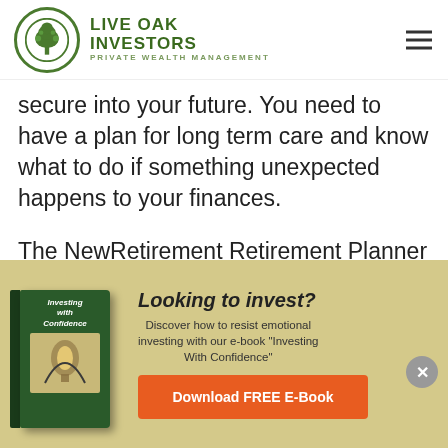[Figure (logo): Live Oak Investors - Private Wealth Management logo with tree icon in circle]
secure into your future. You need to have a plan for long term care and know what to do if something unexpected happens to your finances.
The NewRetirement Retirement Planner is a comprehensive — over 250+ different possible inputs — and
[Figure (infographic): Advertisement banner: Looking to invest? Discover how to resist emotional investing with our e-book 'Investing With Confidence'. Download FREE E-Book button. Book cover image on left.]